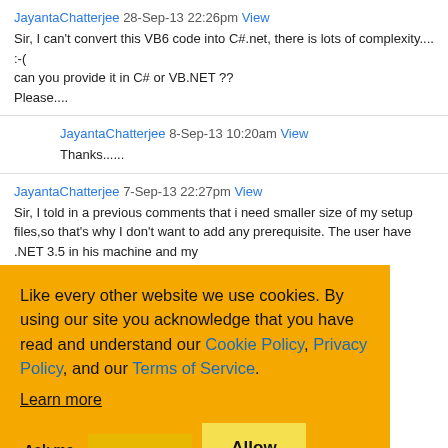JayantaChatterjee 28-Sep-13 22:26pm View
Sir, I can't convert this VB6 code into C#.net, there is lots of complexity.... :-(
can you provide it in C# or VB.NET ??
Please....
JayantaChatterjee 8-Sep-13 10:20am View
Thanks......
JayantaChatterjee 7-Sep-13 22:27pm View
Sir, I told in a previous comments that i need smaller size of my setup files,so that's why I don't want to add any prerequisite. The user have .NET 3.5 in his machine and my ...NET 4.0(which increase ... of a setup Project??? ...pleted. But in this situation ...NET Framework(user have
[Figure (screenshot): Cookie consent banner with orange background. Text: 'Like every other website we use cookies. By using our site you acknowledge that you have read and understand our Cookie Policy, Privacy Policy, and our Terms of Service. Learn more'. Buttons: 'Ask me later', 'Decline', 'Allow cookies'.]
Thanks Sir, Thanks a Lottttttttttttttttt....